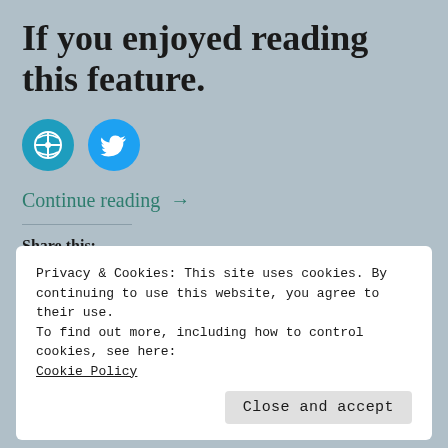If you enjoyed reading this feature.
[Figure (illustration): Two circular social media icons: WordPress (blue) and Twitter (blue) side by side]
Continue reading →
Share this:
[Figure (illustration): Five circular social share icons in a row: email (gray), Facebook (blue), Twitter (light blue), Pinterest (red), WhatsApp (green)]
Loading...
Privacy & Cookies: This site uses cookies. By continuing to use this website, you agree to their use.
To find out more, including how to control cookies, see here: Cookie Policy